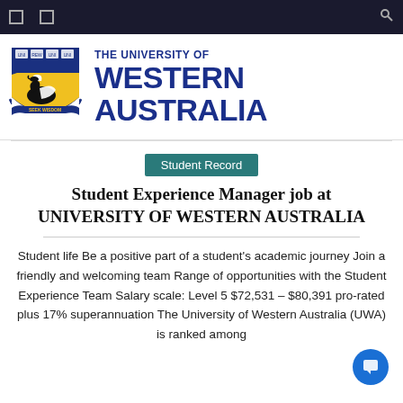Navigation bar with menu icons and search
[Figure (logo): University of Western Australia logo with shield crest (blue and gold, black swan) and text 'THE UNIVERSITY OF WESTERN AUSTRALIA']
Student Record
Student Experience Manager job at UNIVERSITY OF WESTERN AUSTRALIA
Student life Be a positive part of a student's academic journey Join a friendly and welcoming team Range of opportunities with the Student Experience Team Salary scale: Level 5 $72,531 – $80,391 pro-rated plus 17% superannuation The University of Western Australia (UWA) is ranked among